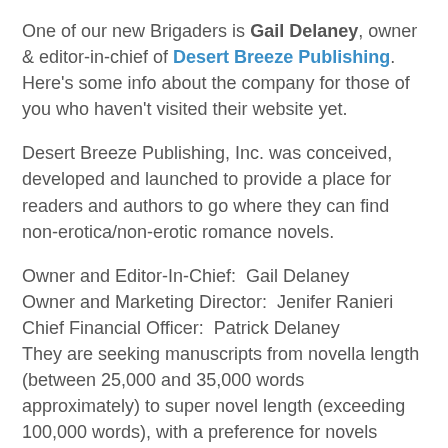One of our new Brigaders is Gail Delaney, owner & editor-in-chief of Desert Breeze Publishing. Here's some info about the company for those of you who haven't visited their website yet.
Desert Breeze Publishing, Inc. was conceived, developed and launched to provide a place for readers and authors to go where they can find non-erotica/non-erotic romance novels.
Owner and Editor-In-Chief:  Gail Delaney
Owner and Marketing Director:  Jenifer Ranieri
Chief Financial Officer:  Patrick Delaney
They are seeking manuscripts from novella length (between 25,000 and 35,000 words approximately) to super novel length (exceeding 100,000 words), with a preference for novels between 65,000 and 90,000 words.  They're  willing to accept queries on book series, and will consider a series concept when at least one book is completed and the series has been thoroughly formulated.
They'll review previously published manuscripts; however